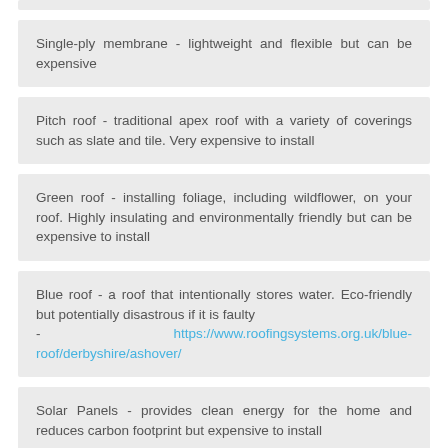Single-ply membrane - lightweight and flexible but can be expensive
Pitch roof - traditional apex roof with a variety of coverings such as slate and tile. Very expensive to install
Green roof - installing foliage, including wildflower, on your roof. Highly insulating and environmentally friendly but can be expensive to install
Blue roof - a roof that intentionally stores water. Eco-friendly but potentially disastrous if it is faulty
- https://www.roofingsystems.org.uk/blue-roof/derbyshire/ashover/
Solar Panels - provides clean energy for the home and reduces carbon footprint but expensive to install